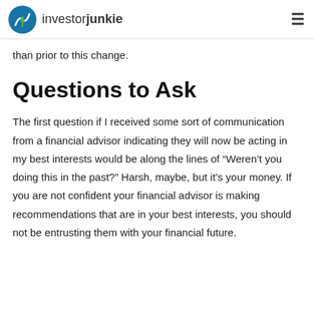investorjunkie
change in their rules, and several years later the number of financial advisors is about 20% lower than prior to this change.
Questions to Ask
The first question if I received some sort of communication from a financial advisor indicating they will now be acting in my best interests would be along the lines of “Weren’t you doing this in the past?” Harsh, maybe, but it’s your money. If you are not confident your financial advisor is making recommendations that are in your best interests, you should not be entrusting them with your financial future.